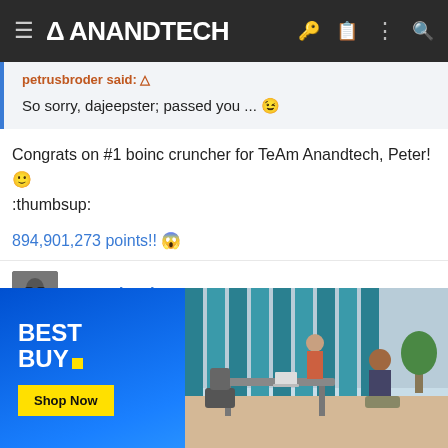AnandTech
petrusbroder said: ↑
So sorry, dajeepster; passed you ... 😉
Congrats on #1 boinc cruncher for TeAm Anandtech, Peter! 🙂 :thumbsup:
894,901,273 points!! 😱
petrusbroder
[Figure (screenshot): Best Buy advertisement banner with blue gradient background, Best Buy logo, Shop Now button, and office scene photo]